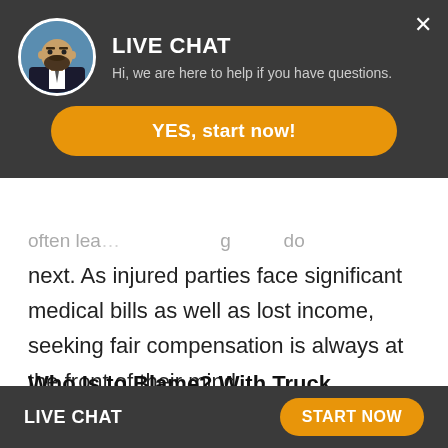[Figure (screenshot): Live chat overlay widget with circular avatar photo of a bearded man in a suit, title LIVE CHAT, subtitle text, and a yellow-orange YES start now button]
often lea... ...g ...do next. As injured parties face significant medical bills as well as lost income, seeking fair compensation is always at the front of their mind.
Who Is to Blame? With Truck Accidents, It Is Not Always Clear
[Figure (screenshot): Bottom bar with LIVE CHAT text and START NOW orange button]